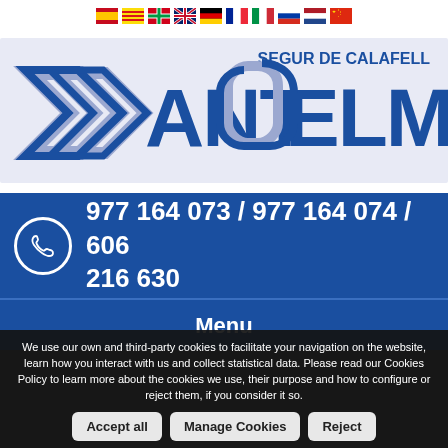[Figure (logo): Sant Elm Segur de Calafell logo with blue stylized S arrows and text SANT ELM, SEGUR DE CALAFELL]
977 164 073 / 977 164 074 / 606 216 630
Menu
We use our own and third-party cookies to facilitate your navigation on the website, learn how you interact with us and collect statistical data. Please read our Cookies Policy to learn more about the cookies we use, their purpose and how to configure or reject them, if you consider it so.
Accept all   Manage Cookies   Reject